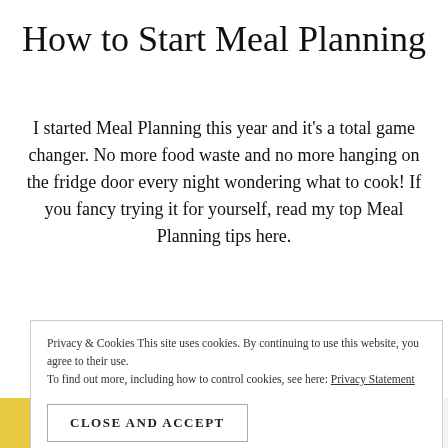How to Start Meal Planning
I started Meal Planning this year and it's a total game changer. No more food waste and no more hanging on the fridge door every night wondering what to cook! If you fancy trying it for yourself, read my top Meal Planning tips here.
Privacy & Cookies This site uses cookies. By continuing to use this website, you agree to their use.
To find out more, including how to control cookies, see here: Privacy Statement
CLOSE AND ACCEPT